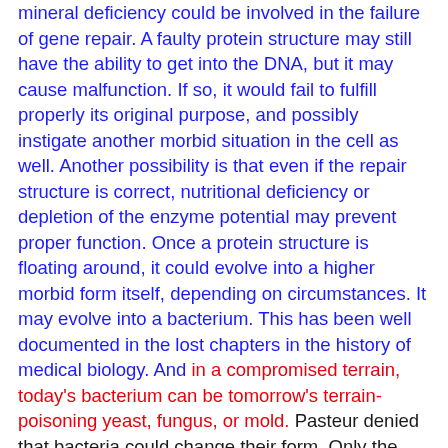mineral deficiency could be involved in the failure of gene repair. A faulty protein structure may still have the ability to get into the DNA, but it may cause malfunction. If so, it would fail to fulfill properly its original purpose, and possibly instigate another morbid situation in the cell as well. Another possibility is that even if the repair structure is correct, nutritional deficiency or depletion of the enzyme potential may prevent proper function. Once a protein structure is floating around, it could evolve into a higher morbid form itself, depending on circumstances. It may evolve into a bacterium. This has been well documented in the lost chapters in the history of medical biology. And in a compromised terrain, today's bacterium can be tomorrow's terrain-poisoning yeast, fungus, or mold. Pasteur denied that bacteria could change their form. Only the unchanging, specific germs of the air were the cause of